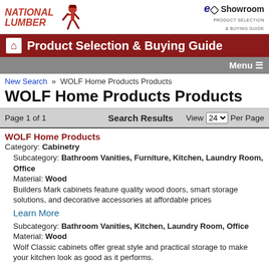[Figure (logo): National Lumber logo with running figure character]
[Figure (logo): eShowroom Product Selection & Buying Guide logo]
Product Selection & Buying Guide
Menu ≡
New Search » WOLF Home Products Products
WOLF Home Products Products
Page 1 of 1   Search Results   View 24 Per Page
WOLF Home Products
Category: Cabinetry
Subcategory: Bathroom Vanities, Furniture, Kitchen, Laundry Room, Office
Material: Wood
Builders Mark cabinets feature quality wood doors, smart storage solutions, and decorative accessories at affordable prices
Learn More
Subcategory: Bathroom Vanities, Kitchen, Laundry Room, Office
Material: Wood
Wolf Classic cabinets offer great style and practical storage to make your kitchen look as good as it performs.